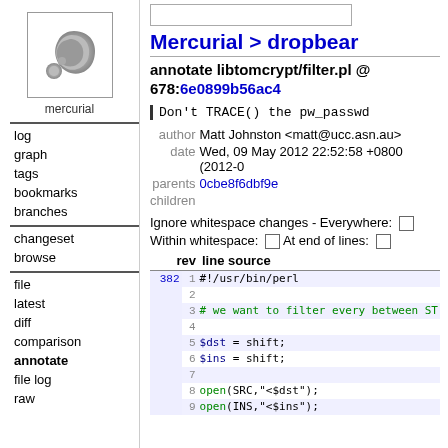[Figure (logo): Mercurial logo: grey swirling shape on white background with 'mercurial' label below]
log
graph
tags
bookmarks
branches
changeset
browse
file
latest
diff
comparison
annotate
file log
raw
Mercurial > dropbear
annotate libtomcrypt/filter.pl @ 678:6e0899b56ac4
Don't TRACE() the pw_passwd
author Matt Johnston <matt@ucc.asn.au>
date Wed, 09 May 2012 22:52:58 +0800 (2012-0...
parents 0cbe8f6dbf9e
children
Ignore whitespace changes - Everywhere:  [ ]
Within whitespace:  [ ]  At end of lines:  [ ]
| rev | line source |
| --- | --- |
| 382 | 1 #!/usr/bin/perl |
|  | 2 |
|  | 3 # we want to filter every between ST... |
|  | 4 |
|  | 5 $dst = shift; |
|  | 6 $ins = shift; |
|  | 7 |
|  | 8 open(SRC,"<$dst"); |
|  | 9 open(INS,"<$ins"); |